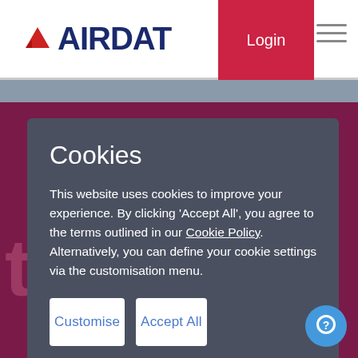[Figure (logo): AIRDAT logo with red triangle and blue text on white navigation bar]
Cookies
This website uses cookies to improve your experience. By clicking 'Accept All', you agree to the terms outlined in our Cookie Policy. Alternatively, you can define your cookie settings via the customisation menu.
Customise
Accept All